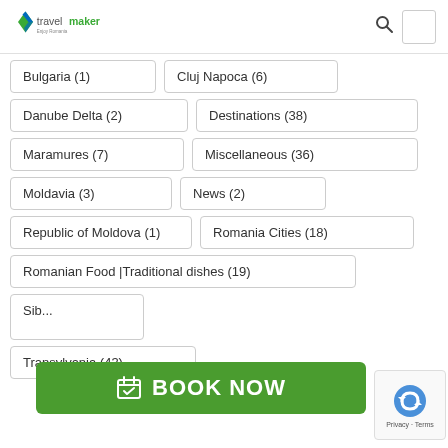[Figure (logo): Travelmaker logo with green/blue diamond icon and 'travelmaker Enjoy Romania' text]
Bulgaria (1)
Cluj Napoca (6)
Danube Delta (2)
Destinations (38)
Maramures (7)
Miscellaneous (36)
Moldavia (3)
News (2)
Republic of Moldova (1)
Romania Cities (18)
Romanian Food |Traditional dishes (19)
Sibiu (partially visible)
Transylvania (43)
BOOK NOW